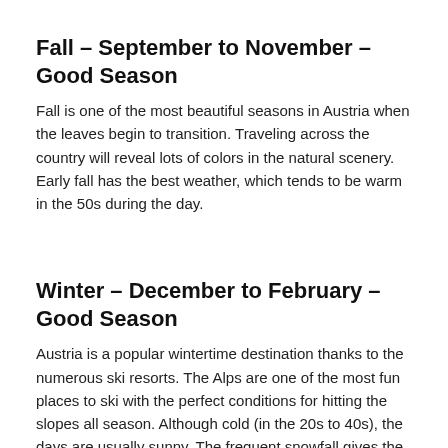Fall – September to November – Good Season
Fall is one of the most beautiful seasons in Austria when the leaves begin to transition. Traveling across the country will reveal lots of colors in the natural scenery. Early fall has the best weather, which tends to be warm in the 50s during the day.
Winter – December to February – Good Season
Austria is a popular wintertime destination thanks to the numerous ski resorts. The Alps are one of the most fun places to ski with the perfect conditions for hitting the slopes all season. Although cold (in the 20s to 40s), the days are usually sunny. The frequent snowfall gives the small towns a cozy charm.